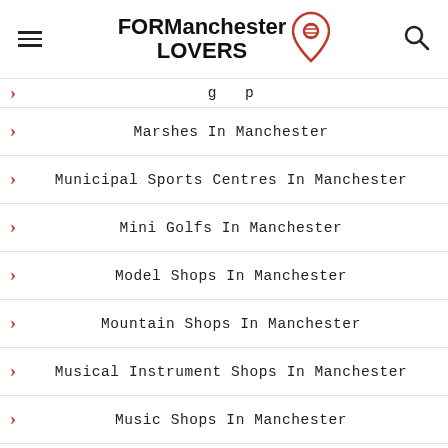FOR Manchester LOVERS
Marshes In Manchester
Municipal Sports Centres In Manchester
Mini Golfs In Manchester
Model Shops In Manchester
Mountain Shops In Manchester
Musical Instrument Shops In Manchester
Music Shops In Manchester
Manga Shops In Manchester